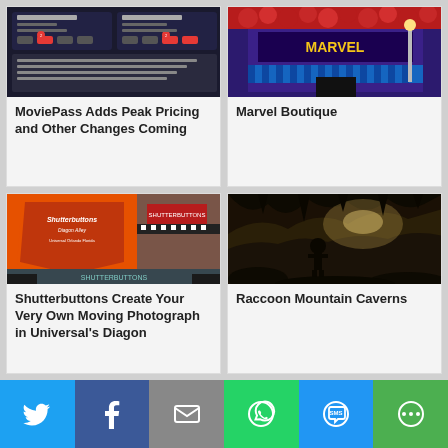[Figure (screenshot): MoviePass app screenshot showing theater showtimes with peak pricing highlighted in red]
MoviePass Adds Peak Pricing and Other Changes Coming
[Figure (photo): Marvel Boutique storefront with red floral decorations and colorful signage]
Marvel Boutique
[Figure (photo): Shutterbuttons Moving Photograph shop at Universal's Diagon Alley in Orlando Florida]
Shutterbuttons Create Your Very Own Moving Photograph in Universal's Diagon
[Figure (photo): Raccoon Mountain Caverns interior showing cave formations and a silhouetted person]
Raccoon Mountain Caverns
[Figure (infographic): Social sharing bar with Twitter, Facebook, Email, WhatsApp, SMS, and More buttons]